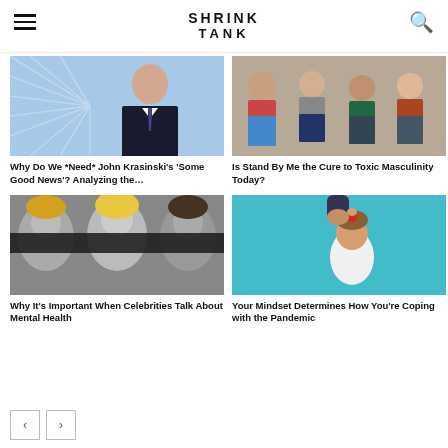SHRINK TANK
[Figure (photo): Man in suit smiling against blue swirl background]
[Figure (photo): Group of teens/young people sitting together]
Why Do We *Need* John Krasinski's 'Some Good News'? Analyzing the…
Is Stand By Me the Cure to Toxic Masculinity Today?
[Figure (photo): Three women faces in black and white with colored band across eyes]
[Figure (illustration): Illustration of a hand pressing a button on top of a person's head, teal background]
Why It's Important When Celebrities Talk About Mental Health
Your Mindset Determines How You're Coping with the Pandemic